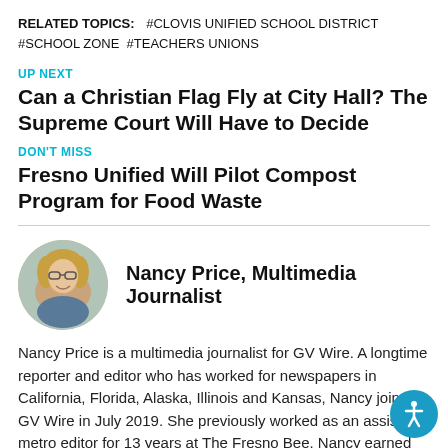RELATED TOPICS: #CLOVIS UNIFIED SCHOOL DISTRICT #SCHOOL ZONE #TEACHERS UNIONS
UP NEXT
Can a Christian Flag Fly at City Hall? The Supreme Court Will Have to Decide
DON'T MISS
Fresno Unified Will Pilot Compost Program for Food Waste
[Figure (photo): Circular headshot photo of Nancy Price, a woman with glasses and medium-length blonde hair, smiling.]
Nancy Price, Multimedia Journalist
Nancy Price is a multimedia journalist for GV Wire. A longtime reporter and editor who has worked for newspapers in California, Florida, Alaska, Illinois and Kansas, Nancy joined GV Wire in July 2019. She previously worked as an assistant metro editor for 13 years at The Fresno Bee. Nancy earned her bachelor's and master's degrees in journalism at Northwestern University's School of Journalism. Her hobbies include singing with the Fresno